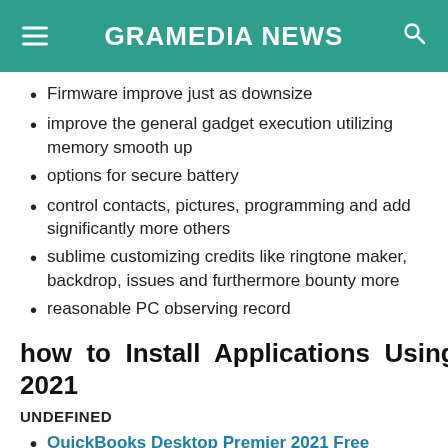GRAMEDIA NEWS
Firmware improve just as downsize
improve the general gadget execution utilizing memory smooth up
options for secure battery
control contacts, pictures, programming and add significantly more others
sublime customizing credits like ringtone maker, backdrop, issues and furthermore bounty more
reasonable PC observing record
how to Install Applications Using iTools 2021
UNDEFINED
QuickBooks Desktop Premier 2021 Free Download
TunnelBear VPN 2021 Free Download